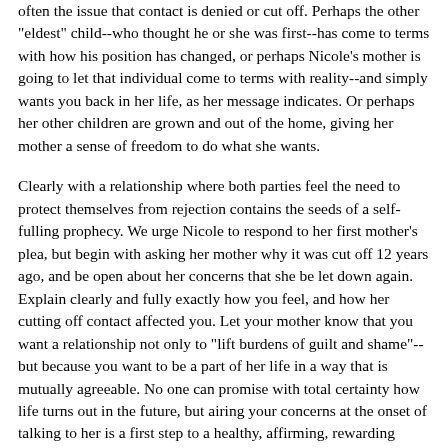often the issue that contact is denied or cut off. Perhaps the other "eldest" child--who thought he or she was first--has come to terms with how his position has changed, or perhaps Nicole's mother is going to let that individual come to terms with reality--and simply wants you back in her life, as her message indicates. Or perhaps her other children are grown and out of the home, giving her mother a sense of freedom to do what she wants.
Clearly with a relationship where both parties feel the need to protect themselves from rejection contains the seeds of a self-fulling prophecy. We urge Nicole to respond to her first mother's plea, but begin with asking her mother why it was cut off 12 years ago, and be open about her concerns that she be let down again. Explain clearly and fully exactly how you feel, and how her cutting off contact affected you. Let your mother know that you want a relationship not only to "lift burdens of guilt and shame"--but because you want to be a part of her life in a way that is mutually agreeable. No one can promise with total certainty how life turns out in the future, but airing your concerns at the onset of talking to her is a first step to a healthy, affirming, rewarding relationship. We hope you'll let us know how it goes in a couple of...